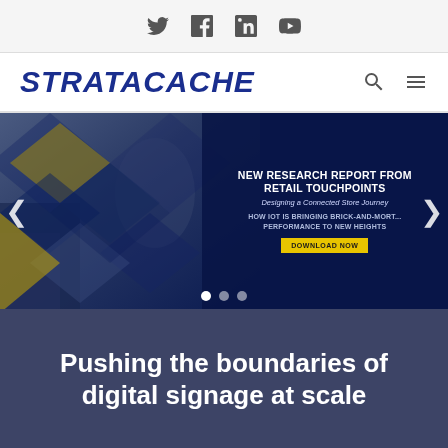Twitter Facebook LinkedIn YouTube (social bar icons)
[Figure (logo): STRATACACHE logo in bold italic dark blue, with search and hamburger menu icons]
[Figure (photo): Hero banner slideshow: woman in retail store with diamond/hexagon overlay graphics on left, dark blue overlay on right with text: NEW RESEARCH REPORT FROM RETAIL TOUCHPOINTS, Designing a Connected Store Journey, HOW IOT IS BRINGING BRICK-AND-MORT... PERFORMANCE TO NEW HEIGHTS, DOWNLOAD NOW button. Navigation arrows on left and right, three dot indicators at bottom.]
Pushing the boundaries of digital signage at scale